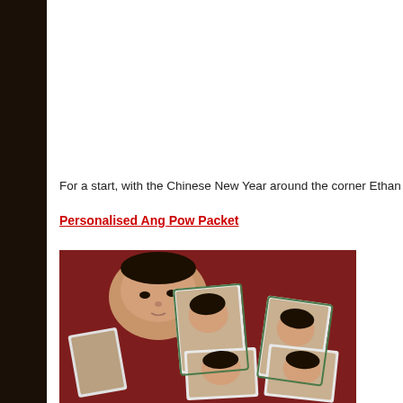For a start, with the Chinese New Year around the corner Ethan did his f
Personalised Ang Pow Packet
[Figure (photo): A young child lying down looking at personalised photo cards/ang pow packets spread out on a red surface. Multiple photos showing a baby/toddler's face on small cards.]